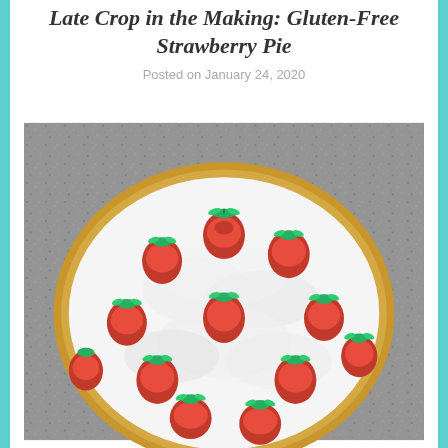Late Crop in the Making: Gluten-Free Strawberry Pie
Posted on January 24, 2020
[Figure (photo): Overhead view of a gluten-free strawberry pie topped with white whipped cream and whole fresh strawberries, sitting on a grey speckled granite countertop]